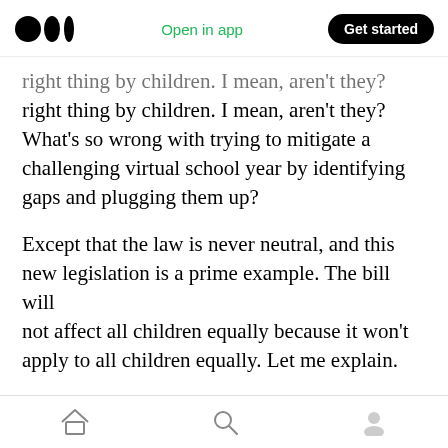Medium logo | Open in app | Get started
right thing by children. I mean, aren't they? What's so wrong with trying to mitigate a challenging virtual school year by identifying gaps and plugging them up?
Except that the law is never neutral, and this new legislation is a prime example. The bill will not affect all children equally because it won't apply to all children equally. Let me explain.
Over the last eight years I've given this assessment at least twenty times. I've sunk hours
Home | Search | Profile